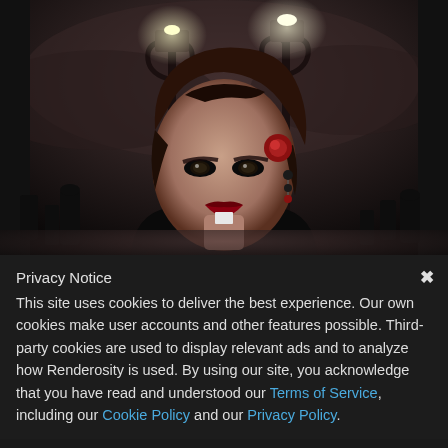[Figure (illustration): Digital illustration of a gothic-styled woman with dark hair, red flower hair accessory, dark eye makeup, and red lips, standing in front of a dimly lit cemetery scene with ornate lamp posts and silhouetted gravestones in a dark, moody atmosphere.]
Privacy Notice
This site uses cookies to deliver the best experience. Our own cookies make user accounts and other features possible. Third-party cookies are used to display relevant ads and to analyze how Renderosity is used. By using our site, you acknowledge that you have read and understood our Terms of Service, including our Cookie Policy and our Privacy Policy.